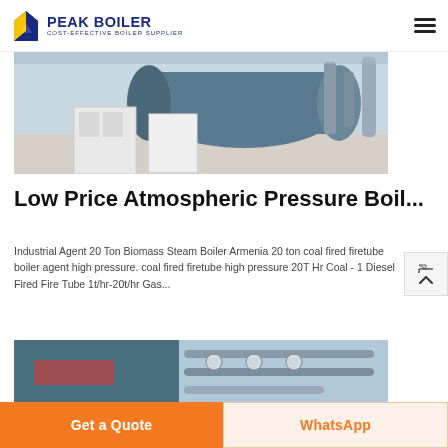PEAK BOILER - COST-EFFECTIVE BOILER SUPPLIER
[Figure (photo): Industrial boiler system in a facility showing a large cylindrical steam boiler with pipes and auxiliary equipment on a polished concrete floor.]
Low Price Atmospheric Pressure Boil…
Industrial Agent 20 Ton Biomass Steam Boiler Armenia 20 ton coal fired firetube boiler agent high pressure. coal fired firetube high pressure 20T Hr Coal - 1 Diesel Fired Fire Tube 1t/hr-20t/hr Gas…
[Figure (photo): Close-up of industrial boiler installation showing pipes, gauges, and control equipment.]
Get a Quote
WhatsApp